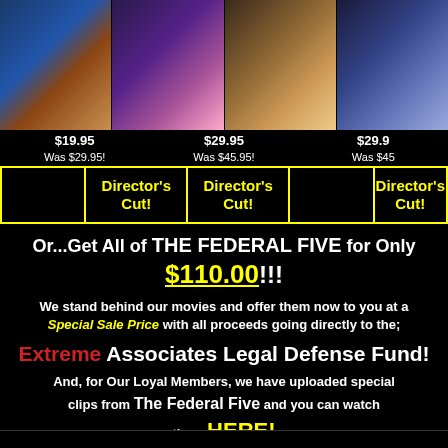[Figure (photo): Four adult movie cover images shown side by side at the top of the page]
$19.95
Was $29.95!

$29.95
Was $45.95!

$29.95
Was $45...
|  | Director's Cut! | Director's Cut! |  | Director's Cut! |
| --- | --- | --- | --- | --- |
|  |
Or...Get All of THE FEDERAL FIVE for Only $110.00!!!
We stand behind our movies and offer them now to you at a Special Sale Price with all proceeds going directly to the;
Extreme Associates Legal Defense Fund!
And, for Our Loyal Members, we have uploaded special clips from The Federal Five and you can watch them HERE!